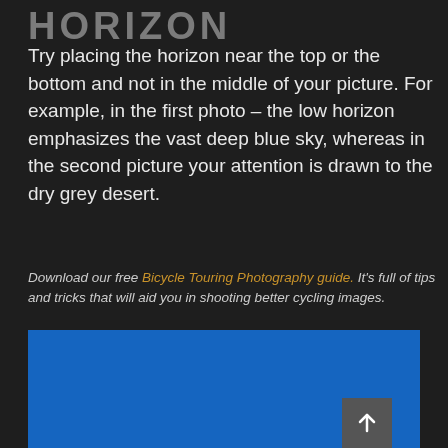HORIZON
Try placing the horizon near the top or the bottom and not in the middle of your picture. For example, in the first photo – the low horizon emphasizes the vast deep blue sky, whereas in the second picture your attention is drawn to the dry grey desert.
Download our free Bicycle Touring Photography guide. It's full of tips and tricks that will aid you in shooting better cycling images.
[Figure (photo): A photograph showing a deep blue sky (horizon placement example image, mostly blue sky visible)]